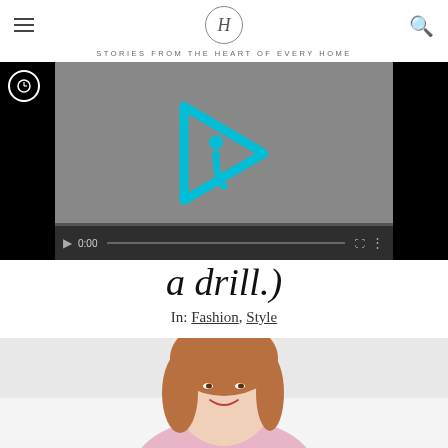H — STORIES FROM THE HEART OF EVERY HOME
[Figure (screenshot): Embedded video player with InFoLinks logo overlay, play button, timer at 0:00, and progress bar on black background]
a drill.)
In: Fashion, Style
[Figure (photo): Partial photo of a smiling young woman with brown hair on a light grey background]